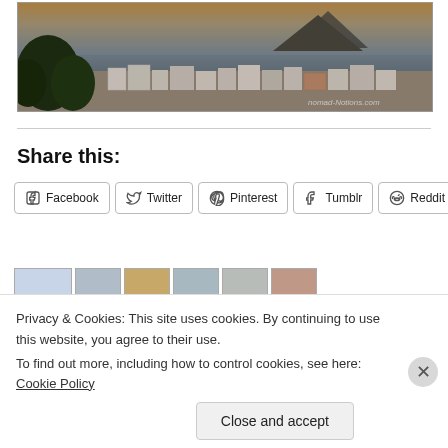[Figure (photo): Coastal town photograph showing a seaside village with white buildings, lush green trees on the left, grey ocean water, and a mountain silhouette in the background under a warm sky. Watermark reads 'nomad-Notions.com']
Share this:
Facebook  Twitter  Pinterest  Tumblr  Reddit
Privacy & Cookies: This site uses cookies. By continuing to use this website, you agree to their use.
To find out more, including how to control cookies, see here: Cookie Policy
Close and accept